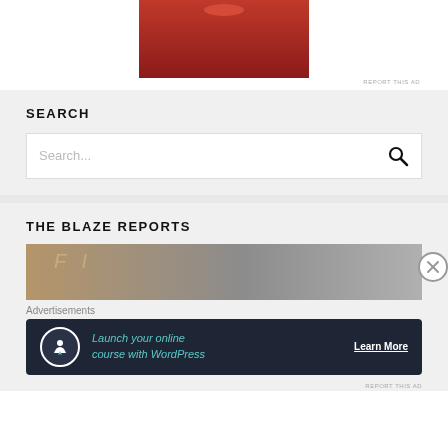[Figure (photo): Partial image of red background with an object at top, cropped at the top of the page]
REPORT THIS AD
SEARCH
[Figure (screenshot): Search input box with placeholder text 'Search...' and a magnifying glass icon]
THE BLAZE REPORTS
[Figure (photo): Partial image showing worn fabric with text markings, cropped]
Advertisements
[Figure (infographic): Advertisement banner: 'Launch your online course with WordPress' with Learn More button and tree/person icon]